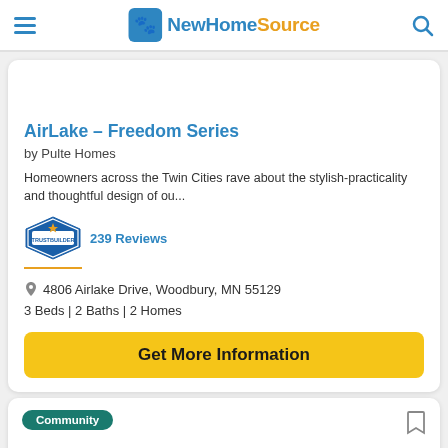NewHomeSource
AirLake – Freedom Series
by Pulte Homes
Homeowners across the Twin Cities rave about the stylish-practicality and thoughtful design of ou...
239 Reviews
4806 Airlake Drive, Woodbury, MN 55129
3 Beds | 2 Baths | 2 Homes
Get More Information
Community